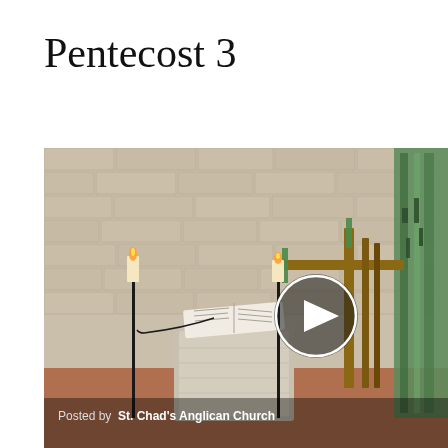Pentecost 3
[Figure (photo): Church interior showing a stone lectern with an open book, two lit candles on black stands, a wooden cross with green fabric, and a brick/tile wall background. A video play button overlay is visible in the center-right area.]
Posted by St. Chad's Anglican Church